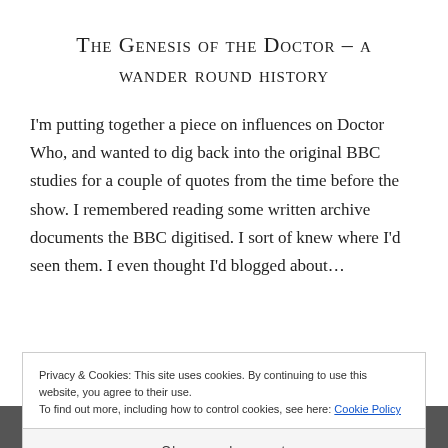The Genesis of the Doctor – a wander round history
I'm putting together a piece on influences on Doctor Who, and wanted to dig back into the original BBC studies for a couple of quotes from the time before the show. I remembered reading some written archive documents the BBC digitised. I sort of knew where I'd seen them. I even thought I'd blogged about…
Privacy & Cookies: This site uses cookies. By continuing to use this website, you agree to their use.
To find out more, including how to control cookies, see here: Cookie Policy
Close and accept
[Figure (photo): Partial photo of a person, mostly obscured by cookie banner overlay]